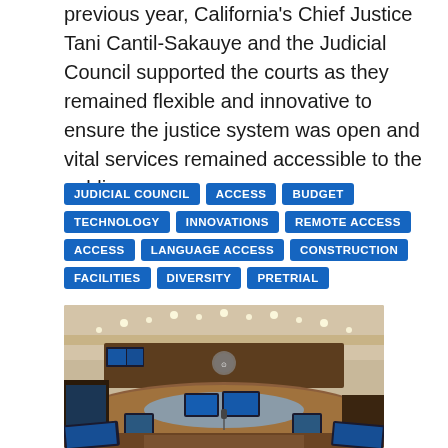previous year, California's Chief Justice Tani Cantil-Sakauye and the Judicial Council supported the courts as they remained flexible and innovative to ensure the justice system was open and vital services remained accessible to the public.
JUDICIAL COUNCIL
ACCESS
BUDGET
TECHNOLOGY
INNOVATIONS
REMOTE ACCESS
ACCESS
LANGUAGE ACCESS
CONSTRUCTION
FACILITIES
DIVERSITY
PRETRIAL
[Figure (photo): Interior of a courtroom or council chamber with a curved wooden dais, multiple monitors/screens on the table, recessed lighting in the ceiling, and what appears to be a seal or emblem on the back wall.]